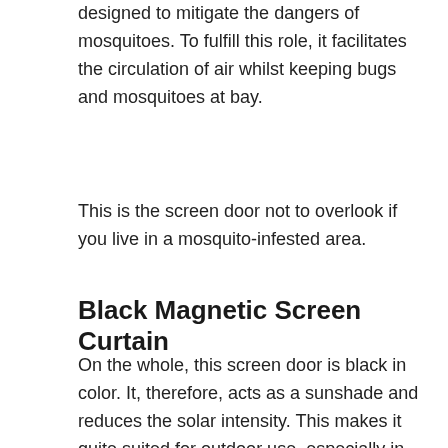designed to mitigate the dangers of mosquitoes. To fulfill this role, it facilitates the circulation of air whilst keeping bugs and mosquitoes at bay.
This is the screen door not to overlook if you live in a mosquito-infested area.
Black Magnetic Screen Curtain
On the whole, this screen door is black in color. It, therefore, acts as a sunshade and reduces the solar intensity. This makes it quite suited for outdoor use, especially in those areas that
[Figure (screenshot): Advertisement banner for Virginia Tire & Auto of Ashburn Fa. - Save Up To $120 on New Tires, with tire auto logo and blue arrow icon, plus play and close controls.]